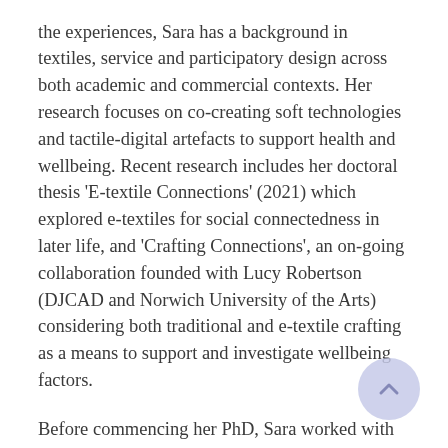the experiences, Sara has a background in textiles, service and participatory design across both academic and commercial contexts. Her research focuses on co-creating soft technologies and tactile-digital artefacts to support health and wellbeing. Recent research includes her doctoral thesis 'E-textile Connections' (2021) which explored e-textiles for social connectedness in later life, and 'Crafting Connections', an on-going collaboration founded with Lucy Robertson (DJCAD and Norwich University of the Arts) considering both traditional and e-textile crafting as a means to support and investigate wellbeing factors.
Before commencing her PhD, Sara worked with BESiDE Research at University of Dundee to co-design wearable artefacts with care home residents to improve physical and social wellbeing,